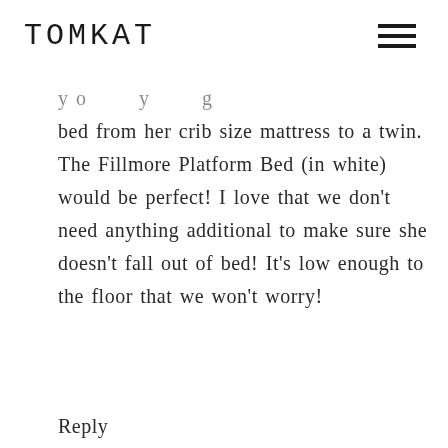TOMKAT
you going bed from her crib size mattress to a twin. The Fillmore Platform Bed (in white) would be perfect! I love that we don't need anything additional to make sure she doesn't fall out of bed! It's low enough to the floor that we won't worry!
Reply